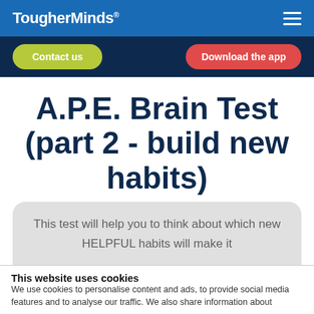TougherMinds®
Contact us | Download the app
A.P.E. Brain Test (part 2 - build new habits)
This test will help you to think about which new HELPFUL habits will make it
This website uses cookies
We use cookies to personalise content and ads, to provide social media features and to analyse our traffic. We also share information about